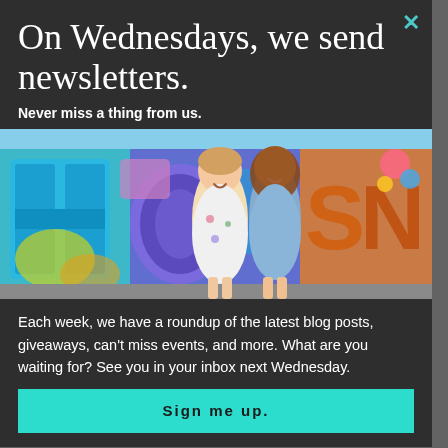my basket. Fo sho.
Build a writing habit. Denton...
On Wednesdays, we send newsletters.
Never miss a thing from us.
[Figure (photo): Two women laughing in front of a colorful Houston graffiti mural wall, outdoors.]
Each week, we have a roundup of the latest blog posts, giveaways, can't miss events, and more. What are you waiting for? See you in your inbox next Wednesday.
Sign me up.